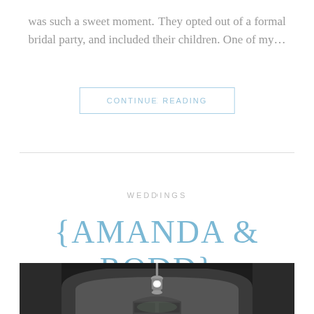was such a sweet moment. They opted out of a formal bridal party, and included their children. One of my…
CONTINUE READING
WEDDINGS
{AMANDA & RODD}
[Figure (photo): Black and white photograph of a building entrance with an arched doorway. A hanging lantern light fixture is visible at the top center of the archway, with the doorway and surrounding dark structure visible below.]